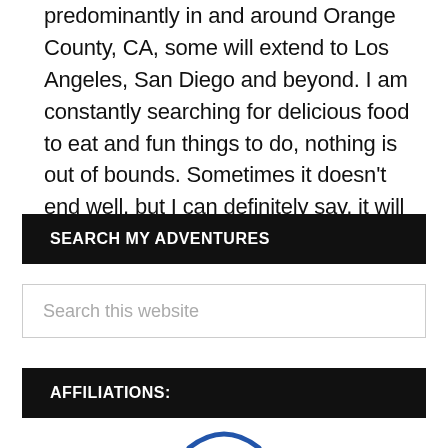predominantly in and around Orange County, CA, some will extend to Los Angeles, San Diego and beyond. I am constantly searching for delicious food to eat and fun things to do, nothing is out of bounds. Sometimes it doesn't end well, but I can definitely say, it will always be an interesting journey.
SEARCH MY ADVENTURES
Search this website
AFFILIATIONS:
[Figure (logo): Partial logo visible at bottom of page, blue arc shape]